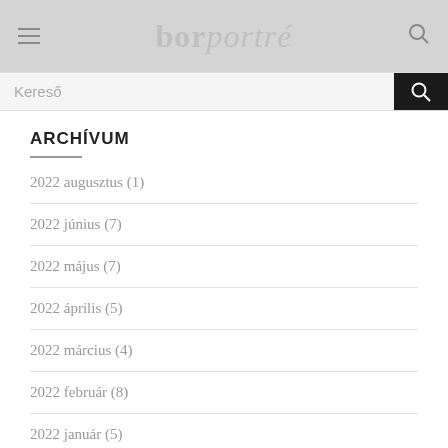borporté
Kereső
ARCHÍVUM
2022 augusztus (1)
2022 június (7)
2022 május (7)
2022 április (5)
2022 március (4)
2022 február (8)
2022 január (5)